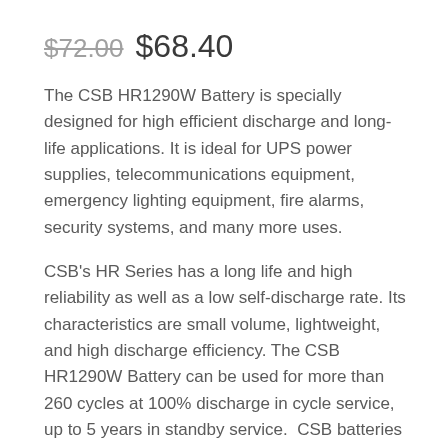$72.00 $68.40
The CSB HR1290W Battery is specially designed for high efficient discharge and long-life applications. It is ideal for UPS power supplies, telecommunications equipment, emergency lighting equipment, fire alarms, security systems, and many more uses.
CSB's HR Series has a long life and high reliability as well as a low self-discharge rate. Its characteristics are small volume, lightweight, and high discharge efficiency. The CSB HR1290W Battery can be used for more than 260 cycles at 100% discharge in cycle service, up to 5 years in standby service. CSB batteries now come standard with a flame-retardant case.